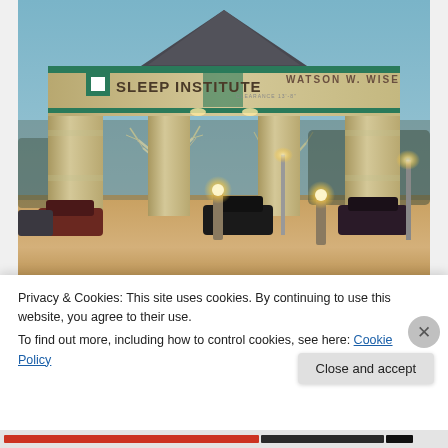[Figure (photo): Exterior photo of the Watson W. Wise Sleep Institute building at dusk. Shows a large brick canopy/entrance structure with 'SLEEP INSTITUTE' and 'WATSON W. WISE' text on the facade, a clearance sign, lit parking lot with bollard lights, and bare winter trees in the background. The sky is a light blue-grey dusk color.]
Privacy & Cookies: This site uses cookies. By continuing to use this website, you agree to their use.
To find out more, including how to control cookies, see here: Cookie Policy
Close and accept